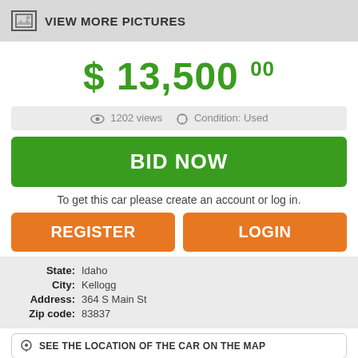[Figure (screenshot): View more pictures button with image icon]
$ 13,500 00
1202 views   Condition: Used
BID NOW
To get this car please create an account or log in.
REGISTER
LOGIN
State: Idaho
City: Kellogg
Address: 364 S Main St
Zip code: 83837
SEE THE LOCATION OF THE CAR ON THE MAP